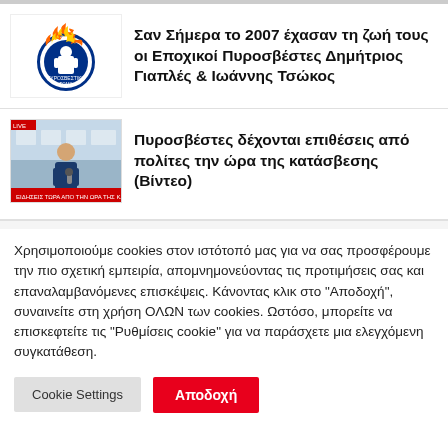[Figure (photo): Fire department logo with flames and firefighter emblem]
Σαν Σήμερα το 2007 έχασαν τη ζωή τους οι Εποχικοί Πυροσβέστες Δημήτριος Γιαπλές & Ιωάννης Τσώκος
[Figure (photo): TV news reporter standing in front of building, news ticker visible at bottom]
Πυροσβέστες δέχονται επιθέσεις από πολίτες την ώρα της κατάσβεσης (Βίντεο)
Χρησιμοποιούμε cookies στον ιστότοπό μας για να σας προσφέρουμε την πιο σχετική εμπειρία, απομνημονεύοντας τις προτιμήσεις σας και επαναλαμβανόμενες επισκέψεις. Κάνοντας κλικ στο "Αποδοχή", συναινείτε στη χρήση ΟΛΩΝ των cookies. Ωστόσο, μπορείτε να επισκεφτείτε τις "Ρυθμίσεις cookie" για να παράσχετε μια ελεγχόμενη συγκατάθεση.